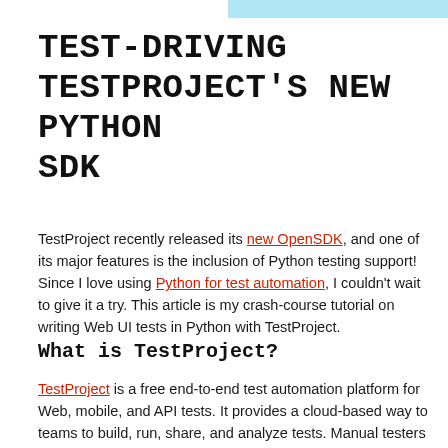TEST-DRIVING TESTPROJECT'S NEW PYTHON SDK
TestProject recently released its new OpenSDK, and one of its major features is the inclusion of Python testing support! Since I love using Python for test automation, I couldn't wait to give it a try. This article is my crash-course tutorial on writing Web UI tests in Python with TestProject.
What is TestProject?
TestProject is a free end-to-end test automation platform for Web, mobile, and API tests. It provides a cloud-based way to teams to build, run, share, and analyze tests. Manual testers can visually build